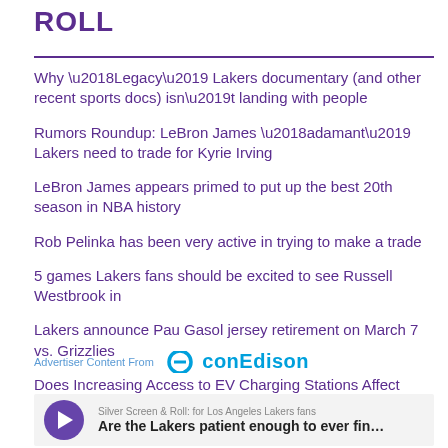ROLL
Why ‘Legacy’ Lakers documentary (and other recent sports docs) isn’t landing with people
Rumors Roundup: LeBron James ‘adamant’ Lakers need to trade for Kyrie Irving
LeBron James appears primed to put up the best 20th season in NBA history
Rob Pelinka has been very active in trying to make a trade
5 games Lakers fans should be excited to see Russell Westbrook in
Lakers announce Pau Gasol jersey retirement on March 7 vs. Grizzlies
Does Increasing Access to EV Charging Stations Affect Climate Change?
Advertiser Content From conEdison
Silver Screen & Roll: for Los Angeles Lakers fans
Are the Lakers patient enough to ever fin…